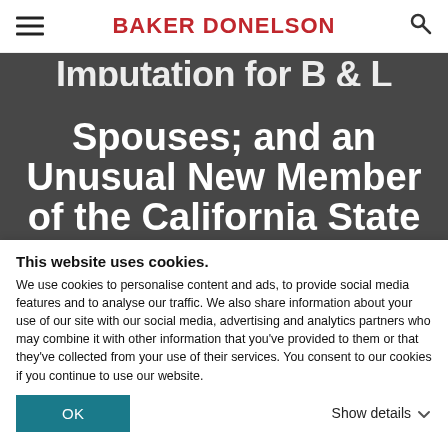BAKER DONELSON
Spouses; and an Unusual New Member of the California State Bar
January 16, 2014
This website uses cookies.
We use cookies to personalise content and ads, to provide social media features and to analyse our traffic. We also share information about your use of our site with our social media, advertising and analytics partners who may combine it with other information that you've provided to them or that they've collected from your use of their services. You consent to our cookies if you continue to use our website.
OK
Show details